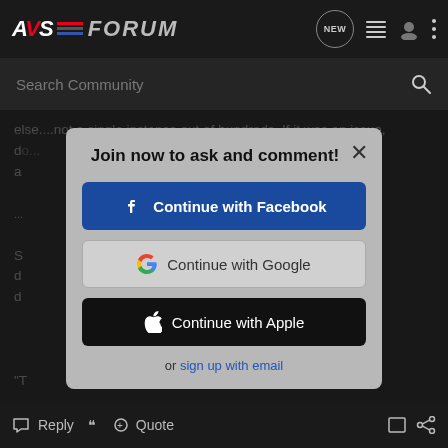AVS FORUM
Search Community
else....not a single instance out of hundreds. If it was an issue, do... ... a... t
Join now to ask and comment!
Continue with Facebook
Continue with Google
Continue with Apple
or sign up with email
S... d... d...
"T
Reply   Quote